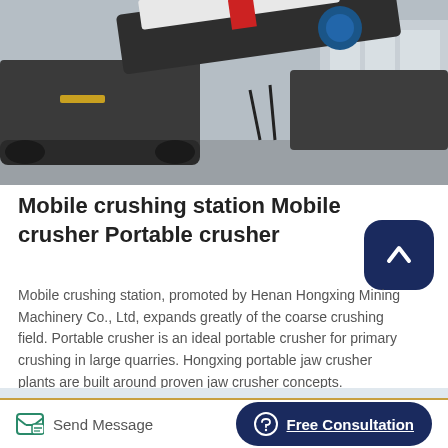[Figure (photo): Industrial mobile crushing station machinery photographed in a factory/outdoor setting, large tracked heavy equipment in dark grey color]
Mobile crushing station Mobile crusher Portable crusher
Mobile crushing station, promoted by Henan Hongxing Mining Machinery Co., Ltd, expands greatly of the coarse crushing field. Portable crusher is an ideal portable crusher for primary crushing in large quarries. Hongxing portable jaw crusher plants are built around proven jaw crusher concepts.
[Figure (photo): Partial photo of mobile crushing equipment, light blue-grey background]
Send Message
Free Consultation